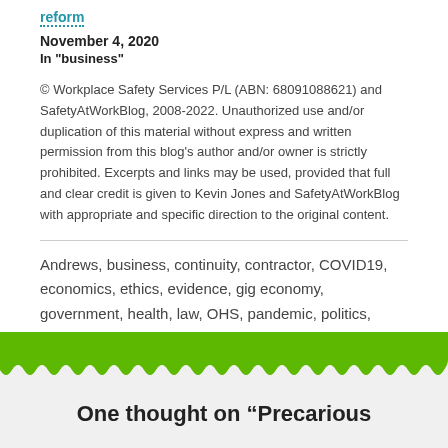reform
November 4, 2020
In "business"
© Workplace Safety Services P/L (ABN: 68091088621) and SafetyAtWorkBlog, 2008-2022. Unauthorized use and/or duplication of this material without express and written permission from this blog's author and/or owner is strictly prohibited. Excerpts and links may be used, provided that full and clear credit is given to Kevin Jones and SafetyAtWorkBlog with appropriate and specific direction to the original content.
Andrews, business, continuity, contractor, COVID19, economics, ethics, evidence, gig economy, government, health, law, OHS, pandemic, politics, productivity, research, safety, Uncategorized
One thought on “Precarious